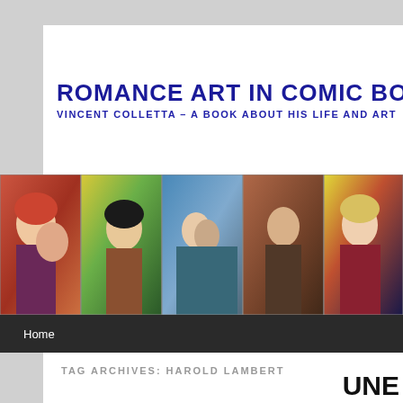ROMANCE ART IN COMIC BO
VINCENT COLLETTA – A BOOK ABOUT HIS LIFE AND ART
[Figure (illustration): Banner strip of five romance comic book panels showing illustrated women and couples in dramatic poses]
Home
TAG ARCHIVES: HAROLD LAMBERT
UNE